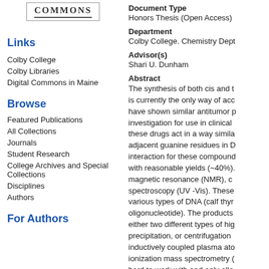[Figure (logo): Digital Commons logo with text COMMONS in bold serif font inside a bordered box]
Links
Colby College
Colby Libraries
Digital Commons in Maine
Browse
Featured Publications
All Collections
Journals
Student Research
College Archives and Special Collections
Disciplines
Authors
For Authors
Document Type
Honors Thesis (Open Access)
Department
Colby College. Chemistry Dept
Advisor(s)
Shari U. Dunham
Abstract
The synthesis of both cis and t is currently the only way of acc have shown similar antitumor p investigation for use in clinical these drugs act in a way simila adjacent guanine residues in D interaction for these compound with reasonable yields (~40%). magnetic resonance (NMR), c spectroscopy (UV -Vis). These various types of DNA (calf thyr oligonucleotide). The products either two different types of hig precipitation, or centrifugation inductively coupled plasma ato ionization mass spectrometry ( hard to work with and only allo